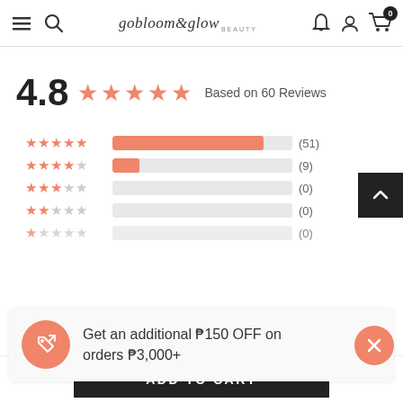gobloom&glow beauty — navigation header with menu, search, logo, bell, account, cart (0)
4.8 ★★★★★ Based on 60 Reviews
[Figure (bar-chart): Rating distribution]
Get an additional ₱150 OFF on orders ₱3,000+
ADD TO CART